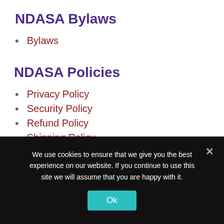NDASA Bylaws
Bylaws
NDASA Policies
Privacy Policy
Security Policy
Refund Policy
Shipping Policy
We use cookies to ensure that we give you the best experience on our website. If you continue to use this site we will assume that you are happy with it.